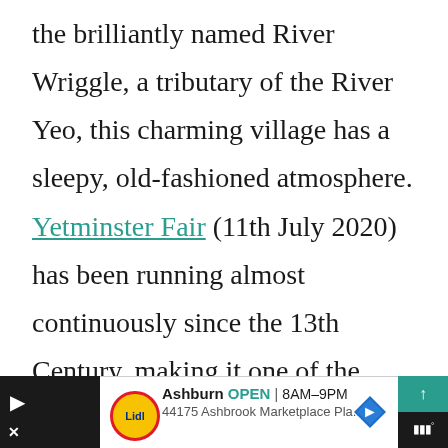the brilliantly named River Wriggle, a tributary of the River Yeo, this charming village has a sleepy, old-fashioned atmosphere. Yetminster Fair (11th July 2020) has been running almost continuously since the 13th Century, making it one of the oldest fairs in the county.
[Figure (other): Advertisement bar at bottom of page: Lidl store ad showing Ashburn location, OPEN 8AM-9PM, address 44175 Ashbrook Marketplace Pla..., with navigation diamond icon and black bars on left and right sides.]